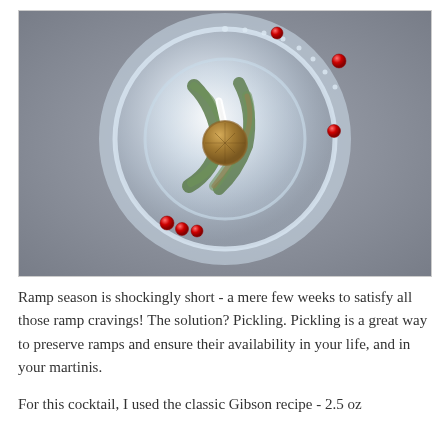[Figure (photo): Top-down aerial view of a martini glass containing a clear cocktail with pickled ramps (green leaves visible) and garnished with red berries/peppercorns on the rim. The glass sits on a gray stone surface.]
Ramp season is shockingly short - a mere few weeks to satisfy all those ramp cravings!  The solution?  Pickling.  Pickling is a great way to preserve ramps and ensure their availability in your life, and in your martinis.
For this cocktail, I used the classic Gibson recipe - 2.5 oz